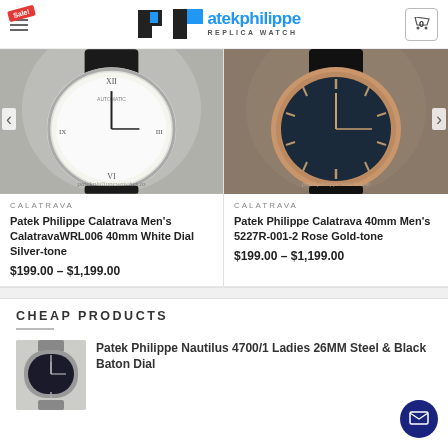atekphilippe REPLICA WATCH
[Figure (screenshot): Product listing for Patek Philippe Calatrava Men's CalatravaWRL006 40mm White Dial Silver-tone watch with watermark patekphilippewatches.to]
CALATRAVA
Patek Philippe Calatrava Men's CalatravaWRL006 40mm White Dial Silver-tone
$199.00 – $1,199.00
[Figure (screenshot): Product listing for Patek Philippe Calatrava 40mm Men's 5227R-001-2 Rose Gold-tone watch with watermark patekphilippewatches.to]
CALATRAVA
Patek Philippe Calatrava 40mm Men's 5227R-001-2 Rose Gold-tone
$199.00 – $1,199.00
CHEAP PRODUCTS
[Figure (photo): Small image of Patek Philippe Nautilus 4700/1 Ladies 26MM Steel & Black Baton Dial watch]
Patek Philippe Nautilus 4700/1 Ladies 26MM Steel & Black Baton Dial